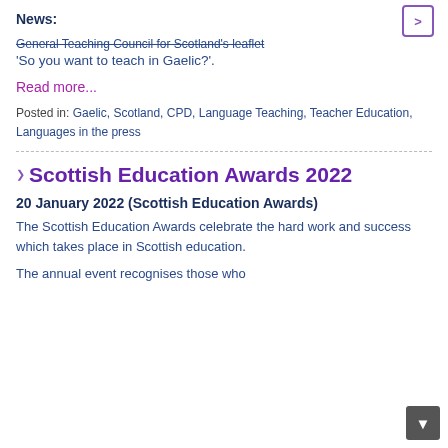News:
General Teaching Council for Scotland's leaflet 'So you want to teach in Gaelic?'.
Read more...
Posted in: Gaelic, Scotland, CPD, Language Teaching, Teacher Education, Languages in the press
Scottish Education Awards 2022
20 January 2022 (Scottish Education Awards)
The Scottish Education Awards celebrate the hard work and success which takes place in Scottish education.
The annual event recognises those who